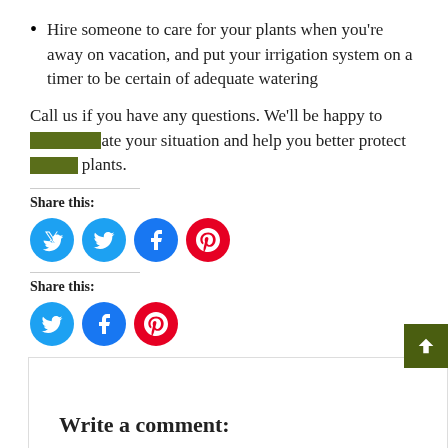Hire someone to care for your plants when you're away on vacation, and put your irrigation system on a timer to be certain of adequate watering
Call us if you have any questions. We'll be happy to evaluate your situation and help you better protect your plants.
Share this:
[Figure (infographic): Three social share buttons: Twitter (cyan), Facebook (blue), Pinterest (red)]
Share this:
[Figure (infographic): Three social share buttons: Twitter (cyan), Facebook (blue), Pinterest (red)]
Write a comment: